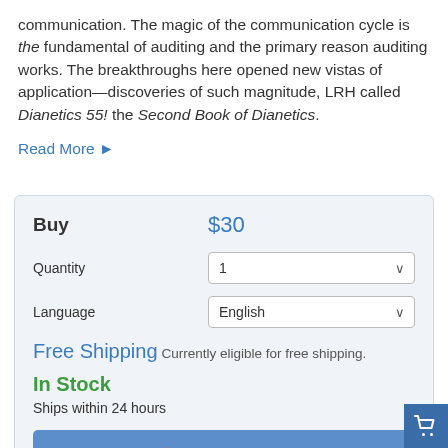communication. The magic of the communication cycle is the fundamental of auditing and the primary reason auditing works. The breakthroughs here opened new vistas of application—discoveries of such magnitude, LRH called Dianetics 55! the Second Book of Dianetics.
Read More ▶
Buy  $30
Quantity  1
Language  English
Free Shipping Currently eligible for free shipping.
In Stock
Ships within 24 hours
ADD TO CART